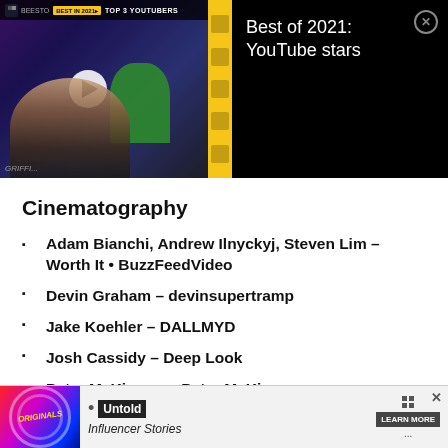[Figure (screenshot): Video thumbnail showing a man in front of a YouTube video player with 'TOP 3 YOUTUBERS' banner, yellow sidebar, and play button overlay]
Best of 2021: YouTube stars
Cinematography
Adam Bianchi, Andrew Ilnyckyj, Steven Lim – Worth It • BuzzFeedVideo
Devin Graham – devinsupertramp
Jake Koehler – DALLMYD
Josh Cassidy – Deep Look
Peter McKinnon – Peter McKinnon
Costume Design
[Figure (screenshot): Advertisement banner for Untold Influencer Stories with colorful logo and LEARN MORE button]